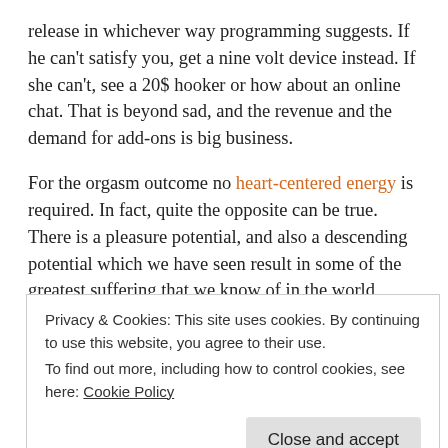release in whichever way programming suggests. If he can't satisfy you, get a nine volt device instead. If she can't, see a 20$ hooker or how about an online chat. That is beyond sad, and the revenue and the demand for add-ons is big business.
For the orgasm outcome no heart-centered energy is required. In fact, quite the opposite can be true. There is a pleasure potential, and also a descending potential which we have seen result in some of the greatest suffering that we know of in the world today.
It’s a sad sight to see lovers who cannot open each other into the sensual world. because they plugged into the world of the
Privacy & Cookies: This site uses cookies. By continuing to use this website, you agree to their use.
To find out more, including how to control cookies, see here: Cookie Policy
Close and accept
pleasure a thousand raptures deep – surrendering, transcending,